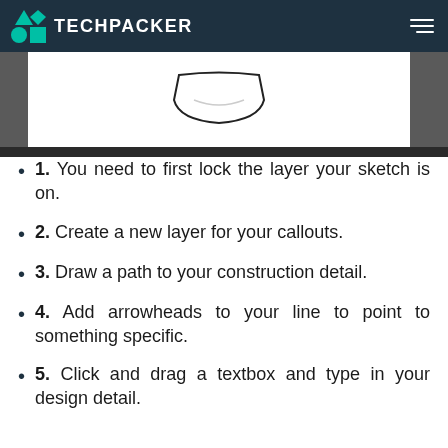TECHPACKER
[Figure (screenshot): Screenshot showing a fashion design sketch tool with a garment collar outline on white canvas, with a dark taskbar at the bottom]
1. You need to first lock the layer your sketch is on.
2. Create a new layer for your callouts.
3. Draw a path to your construction detail.
4. Add arrowheads to your line to point to something specific.
5. Click and drag a textbox and type in your design detail.